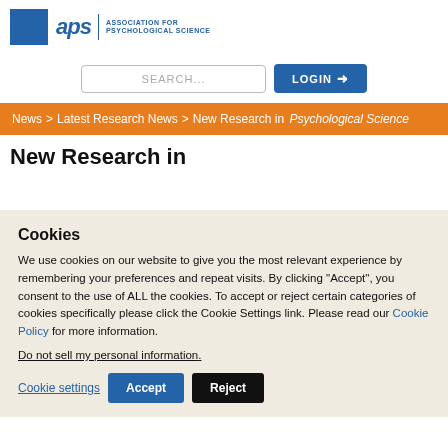[Figure (logo): APS (Association for Psychological Science) logo with blue square icon and stylized text]
SEARCH...
LOGIN →
News > Latest Research News > New Research in Psychological Science
New Research in
Cookies
We use cookies on our website to give you the most relevant experience by remembering your preferences and repeat visits. By clicking "Accept", you consent to the use of ALL the cookies. To accept or reject certain categories of cookies specifically please click the Cookie Settings link. Please read our Cookie Policy for more information.
Do not sell my personal information.
Cookie settings  Accept  Reject